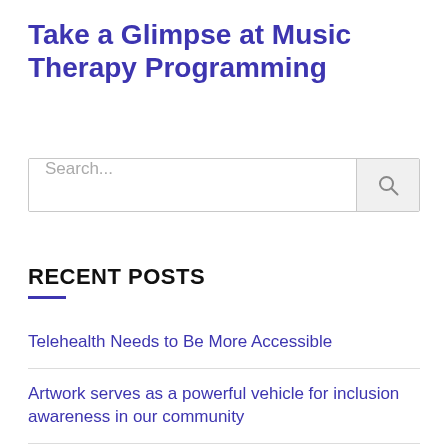Take a Glimpse at Music Therapy Programming
[Figure (other): Search bar with text input field showing placeholder 'Search...' and a search button with magnifying glass icon]
RECENT POSTS
Telehealth Needs to Be More Accessible
Artwork serves as a powerful vehicle for inclusion awareness in our community